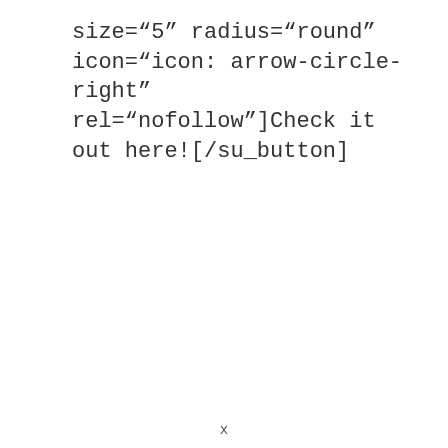size="5" radius="round" icon="icon: arrow-circle-right" rel="nofollow"]Check it out here![/su_button]